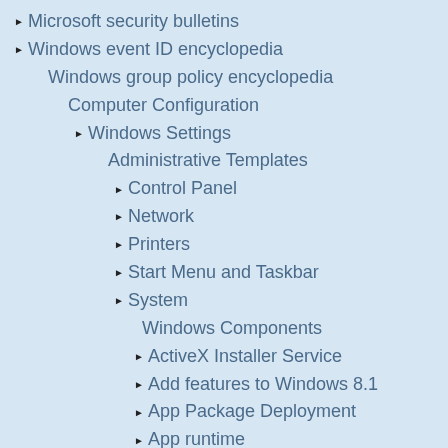▶ Microsoft security bulletins
▶ Windows event ID encyclopedia
Windows group policy encyclopedia
Computer Configuration
▶ Windows Settings
Administrative Templates
▶ Control Panel
▶ Network
▶ Printers
▶ Start Menu and Taskbar
▶ System
Windows Components
▶ ActiveX Installer Service
▶ Add features to Windows 8.1
▶ App Package Deployment
▶ App runtime
▶ Application Compatibility
▶ AutoPlay Policies
▶ Backup